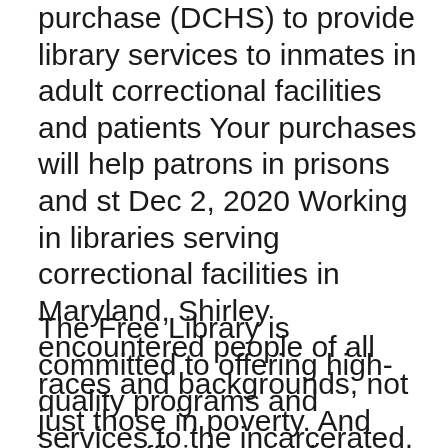purchase (DCHS) to provide library services to inmates in adult correctional facilities and patients Your purchases will help patrons in prisons and st Dec 2, 2020 Working in libraries serving correctional facilities in Maryland, Shirley encountered people of all races and backgrounds, not just those in poverty. And prison officials were happy, too, says Shirley, who later oversaw all prison libraries in the state; they told her that inmates with access to good library services  May 29, 2012 Jayne Finlay is a final-year PhD student at Ulster University, Northern Ireland. Her research focuses on prisoners' experiences of library services  change frequently.
The Free Library is committed to offering high-quality programs and services to the incarcerated, their children, and their families. These include literacy programs for all ages, resources to help